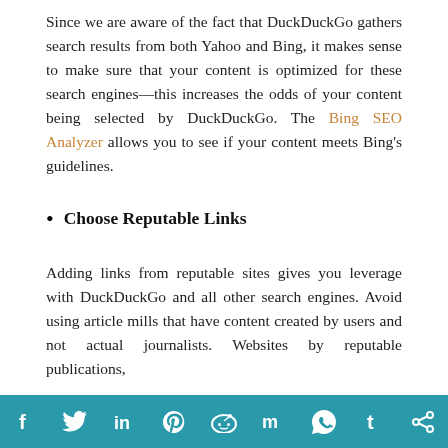Since we are aware of the fact that DuckDuckGo gathers search results from both Yahoo and Bing, it makes sense to make sure that your content is optimized for these search engines—this increases the odds of your content being selected by DuckDuckGo. The Bing SEO Analyzer allows you to see if your content meets Bing's guidelines.
Choose Reputable Links
Adding links from reputable sites gives you leverage with DuckDuckGo and all other search engines. Avoid using article mills that have content created by users and not actual journalists. Websites by reputable publications,